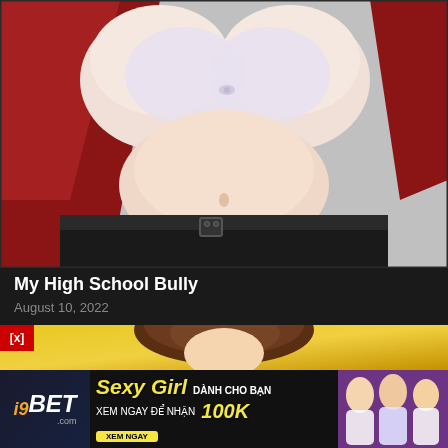[Figure (illustration): Anime-style illustration showing a female figure from neck to waist, wearing a white bra and dark pants with belt, red jacket/cloth draped on sides. Dark background.]
My High School Bully
August 10, 2022
[Figure (illustration): Anime-style illustration of a female figure with brown hair, golden/yellow background, close-up view from behind/side. Red [x] close button in bottom-left corner.]
[Figure (infographic): Advertisement banner for i9BET.com showing 'Sexy Girl DANH CHO BAN XEM NGAY DE NHAN 100K XEM NGAY' with logo and images of women in lingerie.]